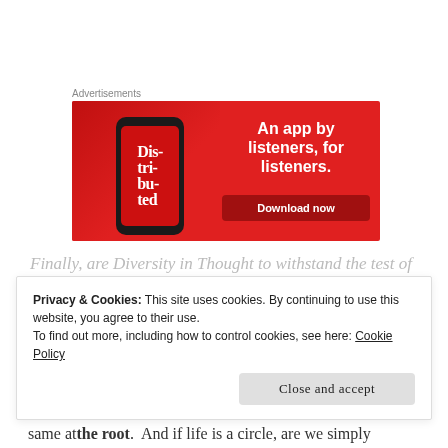Advertisements
[Figure (illustration): Red advertisement banner for a podcast app showing a smartphone with 'Dis-tri-buted' text on screen, with tagline 'An app by listeners, for listeners.' and a 'Download now' button.]
Finally, are Diversity in Thought to withstand the test of
Privacy & Cookies: This site uses cookies. By continuing to use this website, you agree to their use.
To find out more, including how to control cookies, see here: Cookie Policy
Close and accept
same at the root.  And if life is a circle, are we simply